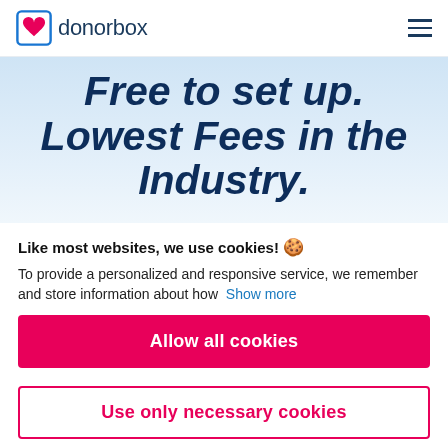donorbox
Free to set up. Lowest Fees in the Industry.
Like most websites, we use cookies! 🍪
To provide a personalized and responsive service, we remember and store information about how  Show more
Allow all cookies
Use only necessary cookies
More options ▾